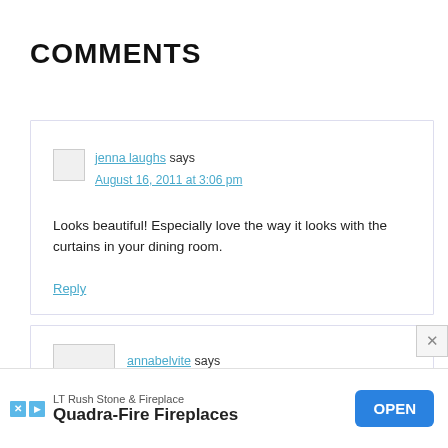COMMENTS
jenna laughs says
August 16, 2011 at 3:06 pm

Looks beautiful! Especially love the way it looks with the curtains in your dining room.

Reply
annabelvite says
LT Rush Stone & Fireplace
Quadra-Fire Fireplaces
OPEN